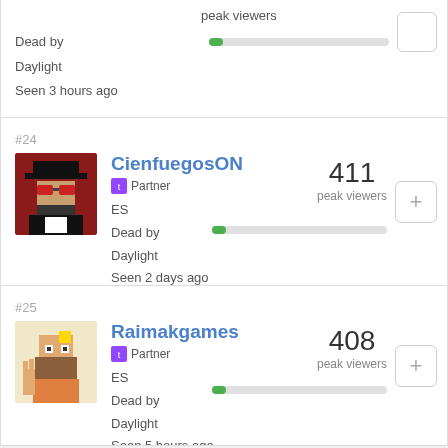Dead by Daylight
Seen 3 hours ago
peak viewers
#24
CienfuegosON
Partner
ES
Dead by Daylight
Seen 2 days ago
411 peak viewers
#25
Raimakgames
Partner
ES
Dead by Daylight
Seen 5 hours ago
408 peak viewers